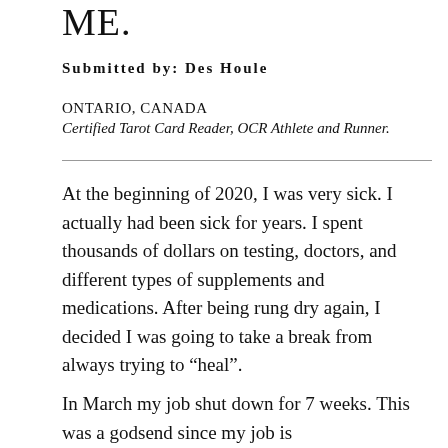ME.
Submitted by: Des Houle
ONTARIO, CANADA
Certified Tarot Card Reader, OCR Athlete and Runner.
At the beginning of 2020, I was very sick. I actually had been sick for years. I spent thousands of dollars on testing, doctors, and different types of supplements and medications. After being rung dry again, I decided I was going to take a break from always trying to “heal”.
In March my job shut down for 7 weeks. This was a godsend since my job is